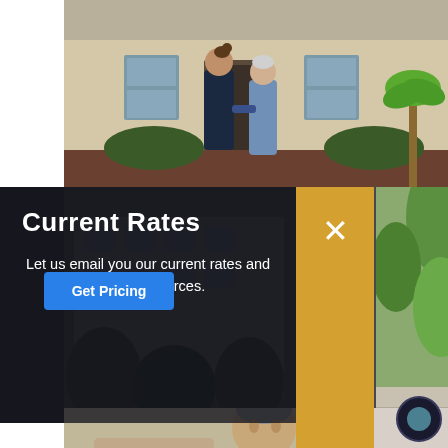[Figure (photo): Caregiver walking with elderly woman outside a building with tropical landscaping]
[Figure (photo): Background photo of senior living building exterior with green trees]
Current Rates
Let us email you our current rates and helpful resources.
Get Pricing
[Figure (photo): Elderly man looking down, in conversation, blurred background]